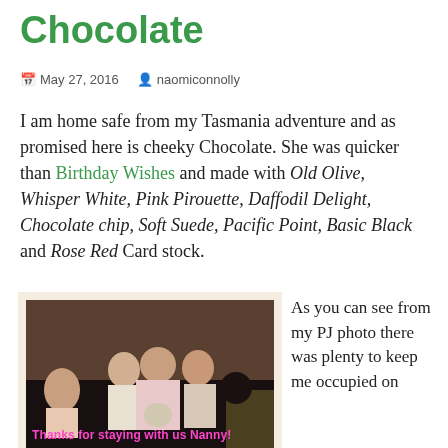Chocolate
May 27, 2016   naomiconnolly
I am home safe from my Tasmania adventure and as promised here is cheeky Chocolate. She was quicker than Birthday Wishes and made with Old Olive, Whisper White, Pink Pirouette, Daffodil Delight, Chocolate chip, Soft Suede, Pacific Point, Basic Black and Rose Red Card stock.
[Figure (photo): Family photo on a couch in pyjamas with caption 'Thanks for staying with us Nanny!' in pink text]
[Figure (photo): Second photo, partially visible at bottom]
As you can see from my PJ photo there was plenty to keep me occupied on